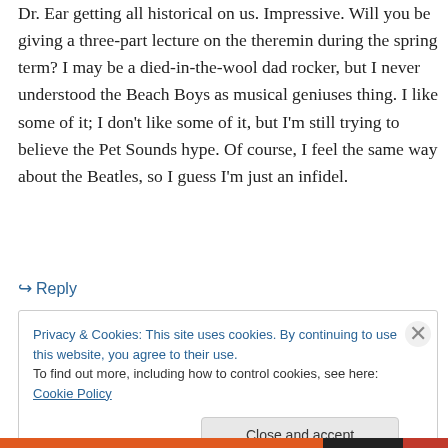Dr. Ear getting all historical on us. Impressive. Will you be giving a three-part lecture on the theremin during the spring term? I may be a died-in-the-wool dad rocker, but I never understood the Beach Boys as musical geniuses thing. I like some of it; I don't like some of it, but I'm still trying to believe the Pet Sounds hype. Of course, I feel the same way about the Beatles, so I guess I'm just an infidel.
↪ Reply
Privacy & Cookies: This site uses cookies. By continuing to use this website, you agree to their use.
To find out more, including how to control cookies, see here: Cookie Policy
Close and accept